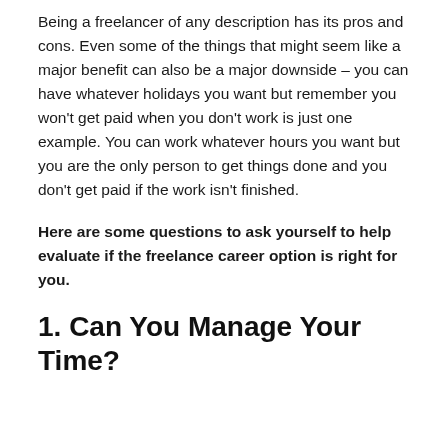Being a freelancer of any description has its pros and cons. Even some of the things that might seem like a major benefit can also be a major downside – you can have whatever holidays you want but remember you won't get paid when you don't work is just one example. You can work whatever hours you want but you are the only person to get things done and you don't get paid if the work isn't finished.
Here are some questions to ask yourself to help evaluate if the freelance career option is right for you.
1. Can You Manage Your Time?